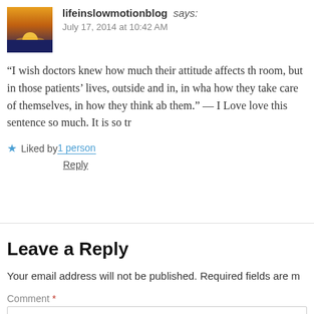lifeinslowmotionblog says:
July 17, 2014 at 10:42 AM
“I wish doctors knew how much their attitude affects th room, but in those patients’ lives, outside and in, in wha how they take care of themselves, in how they think ab them.” — I Love love this sentence so much. It is so tr
★ Liked by 1 person
Reply
Leave a Reply
Your email address will not be published. Required fields are m
Comment *